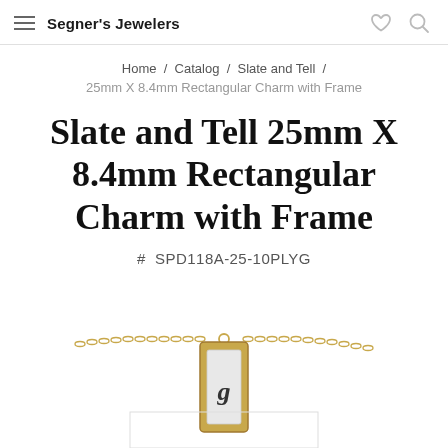Segner's Jewelers
Home / Catalog / Slate and Tell / 25mm X 8.4mm Rectangular Charm with Frame
Slate and Tell 25mm X 8.4mm Rectangular Charm with Frame
# SPD118A-25-10PLYG
[Figure (photo): Gold chain necklace with a rectangular slate charm pendant with a gold frame, showing a letter on the charm face]